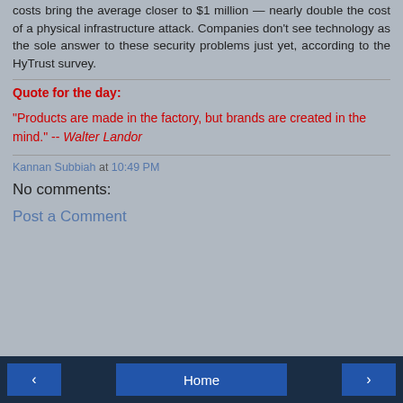costs bring the average closer to $1 million — nearly double the cost of a physical infrastructure attack. Companies don't see technology as the sole answer to these security problems just yet, according to the HyTrust survey.
Quote for the day:
"Products are made in the factory, but brands are created in the mind." -- Walter Landor
Kannan Subbiah at 10:49 PM
No comments:
Post a Comment
< Home >